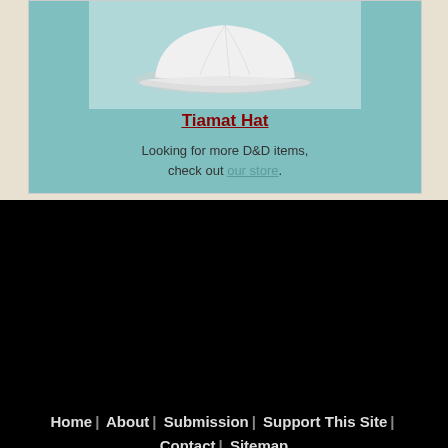[Figure (photo): White baseball cap (Tiamat Hat) on teal background]
Tiamat Hat
Looking for more D&D items, check out our store.
Home | About | Submission | Support This Site | Contact | Sitemap
Spells List   Print Spell Cards   Magic Items   Familiars
Polymorph Beasts   Equipment Lists   Shops   Harvesting & Loot
Deities   Feats   Tables & Generators   Riddles   Thieve's Cant
[Figure (other): Social media icons: Facebook, Twitter, Email]
© Copyright 2022
[Figure (other): Help Fix banner: Incorrect Info? Spelling Error? Help Fix]